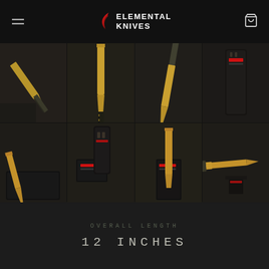ELEMENTAL KNIVES
[Figure (photo): 8-panel product photo grid showing gold/bronze tactical knives from Elemental Knives brand, displayed on dark backgrounds with black packaging boxes and sheaths]
OVERALL LENGTH
12 INCHES